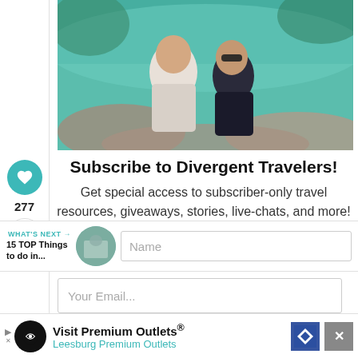[Figure (photo): Two travelers, a man and a woman, posing near turquoise/green water and rocks in a tropical location.]
Subscribe to Divergent Travelers!
Get special access to subscriber-only travel resources, giveaways, stories, live-chats, and more!
WHAT'S NEXT → 15 TOP Things to do in...
Name
Your Email...
Visit Premium Outlets® Leesburg Premium Outlets